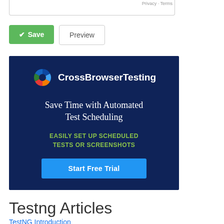[Figure (screenshot): Top of a form with Save and Preview buttons, and a CrossBrowserTesting advertisement banner showing logo, tagline 'Save Time with Automated Test Scheduling', green text 'EASILY SET UP SCHEDULED TESTS OR SCREENSHOTS', and a blue 'Start Free Trial' button.]
Testng Articles
TestNG Introduction